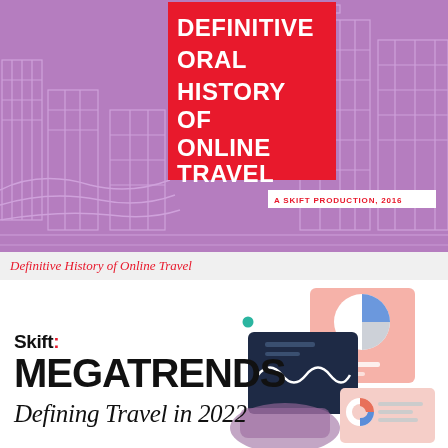[Figure (illustration): Purple background cover image with white line-art city skyline illustration. A bold red box contains white text reading DEFINITIVE ORAL HISTORY OF ONLINE TRAVEL. A white label reads A SKIFT PRODUCTION, 2016.]
Definitive History of Online Travel
[Figure (illustration): Skift Megatrends 2022 cover with bold black text reading Skift MEGATRENDS Defining Travel in 2022, accompanied by a colorful illustration of a person holding a tablet showing charts, with pie chart and report graphics on the right side. A teal dot accent near the top center.]